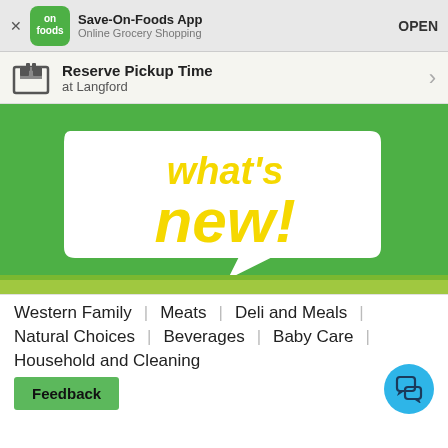[Figure (screenshot): Save-On-Foods app banner with green logo icon, app name 'Save-On-Foods App', subtitle 'Online Grocery Shopping', and OPEN button]
Reserve Pickup Time at Langford
[Figure (illustration): Green hero banner with white speech bubble and yellow 'what's new!' text]
Western Family  |  Meats  |  Deli and Meals  |
Natural Choices  |  Beverages  |  Baby Care  |
Household and Cleaning
Feedback